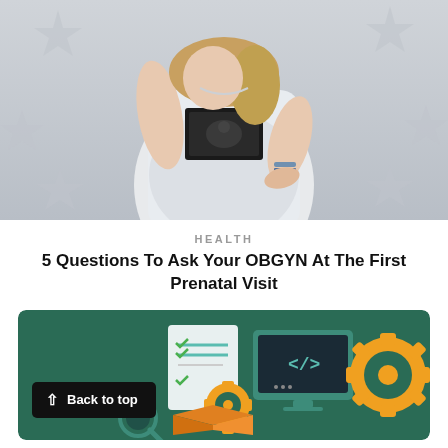[Figure (photo): Pregnant woman in white dress holding an ultrasound photo against a grey background with star pattern]
HEALTH
5 Questions To Ask Your OBGYN At The First Prenatal Visit
[Figure (illustration): Green card with tech/developer illustration showing gears, code brackets, checklist, and a box. Overlaid with a black 'Back to top' button with upward arrow.]